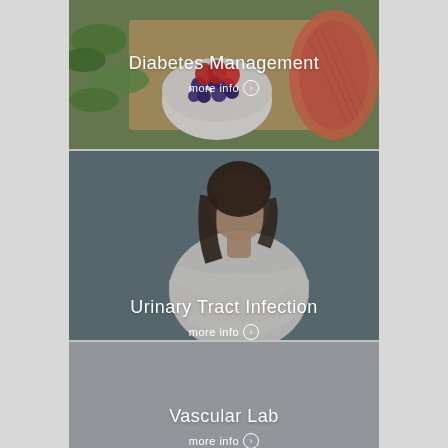[Figure (photo): Photo of diabetes-friendly food items including berries, blueberries in a bowl, and salmon fillet on a cutting board with greens]
Diabetes Management
more info ❯
[Figure (photo): Photo of a woman in a white t-shirt clutching her abdomen in pain against a teal/gray background]
Urinary Tract Infection
more info ❯
[Figure (photo): Gray/neutral background card for Vascular Lab section]
Vascular Lab
more info ❯